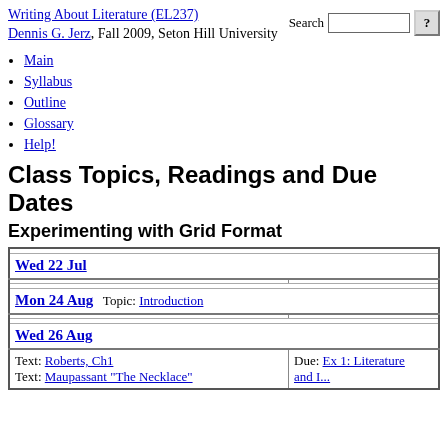Writing About Literature (EL237) Dennis G. Jerz, Fall 2009, Seton Hill University
Main
Syllabus
Outline
Glossary
Help!
Class Topics, Readings and Due Dates
Experimenting with Grid Format
| Wed 22 Jul |  |
| Mon 24 Aug   Topic: Introduction |  |
| Wed 26 Aug |  |
| Text: Roberts, Ch1
Text: Maupassant "The Necklace" | Due: Ex 1: Literature and... |